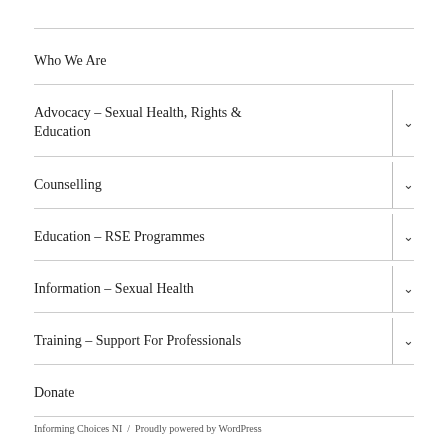Who We Are
Advocacy – Sexual Health, Rights & Education
Counselling
Education – RSE Programmes
Information – Sexual Health
Training – Support For Professionals
Donate
Informing Choices NI  /  Proudly powered by WordPress